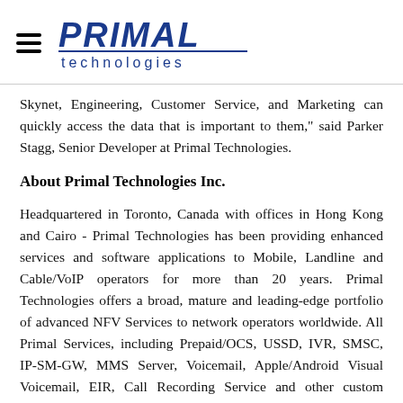[Figure (logo): Primal Technologies logo with hamburger menu icon]
Skynet, Engineering, Customer Service, and Marketing can quickly access the data that is important to them," said Parker Stagg, Senior Developer at Primal Technologies.
About Primal Technologies Inc.
Headquartered in Toronto, Canada with offices in Hong Kong and Cairo - Primal Technologies has been providing enhanced services and software applications to Mobile, Landline and Cable/VoIP operators for more than 20 years. Primal Technologies offers a broad, mature and leading-edge portfolio of advanced NFV Services to network operators worldwide. All Primal Services, including Prepaid/OCS, USSD, IVR, SMSC, IP-SM-GW, MMS Server, Voicemail, Apple/Android Visual Voicemail, EIR, Call Recording Service and other custom services can be deployed on either a customer's private cloud, or the AWS cloud...